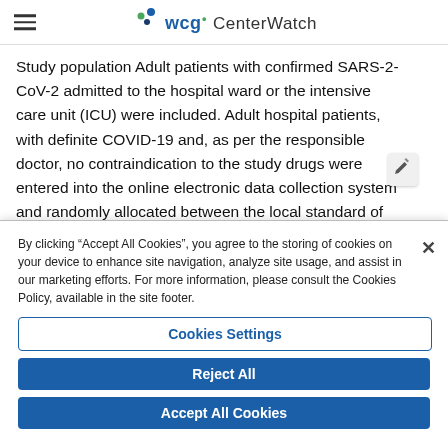WCG CenterWatch
Study population Adult patients with confirmed SARS-2-CoV-2 admitted to the hospital ward or the intensive care unit (ICU) were included. Adult hospital patients, with definite COVID-19 and, as per the responsible doctor, no contraindication to the study drugs were entered into the online electronic data collection system and randomly allocated between the local standard of care alone or standard of care plus remdesivir (daily infusion until discharge or up to ten days). Between July 2020 and January 2021, 208 patients were
By clicking “Accept All Cookies”, you agree to the storing of cookies on your device to enhance site navigation, analyze site usage, and assist in our marketing efforts. For more information, please consult the Cookies Policy, available in the site footer.
Cookies Settings
Reject All
Accept All Cookies